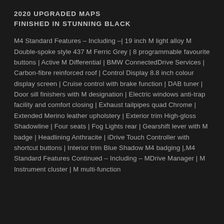2020 UPGRADED MAPS
FINISHED IN STUNNING BLACK
M4 Standard Features – Including –| 19 inch M light alloy M Double-spoke style 437 M Ferric Grey | 8 programmable favourite buttons | Active M Differential | BMW ConnectedDrive Services | Carbon-fibre reinforced roof | Control Display 8.8 inch colour display screen | Cruise control with brake function | DAB tuner | Door sill finishers with M designation | Electric windows anti-trap facility and comfort closing | Exhaust tailpipes quad Chrome | Extended Merino leather upholstery | Exterior trim High-gloss Shadowline | Four seats | Fog Lights rear | Gearshift lever with M badge | Headlining Anthracite | iDrive Touch Controller with shortcut buttons | Interior trim Blue Shadow M4 badging |,M4 Standard Features Continued – Including – MDrive Manager | M Instrument cluster | M multi-function